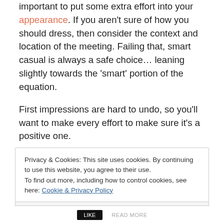important to put some extra effort into your appearance. If you aren't sure of how you should dress, then consider the context and location of the meeting. Failing that, smart casual is always a safe choice… leaning slightly towards the 'smart' portion of the equation.
First impressions are hard to undo, so you'll want to make every effort to make sure it's a positive one.
Do you have any tips to impress? Share them in the comments below!
Privacy & Cookies: This site uses cookies. By continuing to use this website, you agree to their use. To find out more, including how to control cookies, see here: Cookie & Privacy Policy
Close and accept